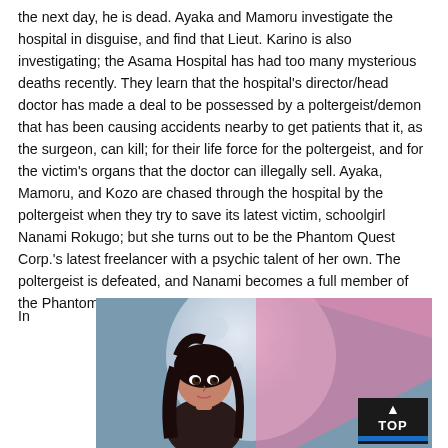the next day, he is dead. Ayaka and Mamoru investigate the hospital in disguise, and find that Lieut. Karino is also investigating; the Asama Hospital has had too many mysterious deaths recently. They learn that the hospital's director/head doctor has made a deal to be possessed by a poltergeist/demon that has been causing accidents nearby to get patients that it, as the surgeon, can kill; for their life force for the poltergeist, and for the victim's organs that the doctor can illegally sell. Ayaka, Mamoru, and Kozo are chased through the hospital by the poltergeist when they try to save its latest victim, schoolgirl Nanami Rokugo; but she turns out to be the Phantom Quest Corp.'s latest freelancer with a psychic talent of her own. The poltergeist is defeated, and Nanami becomes a full member of the Phantom Quest Corp. team.
In
[Figure (illustration): Anime-style illustration of a dark-haired female character in front of a large moon with pink diagonal light effects crossing the image.]